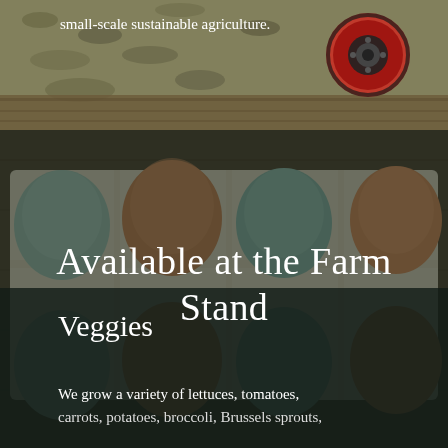small-scale sustainable agriculture.
[Figure (photo): Carton of farm eggs (blue, brown) on wooden surface with dark overlay. Top portion shows gravel/farm ground with a red tractor wheel visible in the background.]
Available at the Farm Stand
Veggies
We grow a variety of lettuces, tomatoes, carrots, potatoes, broccoli, Brussels sprouts,